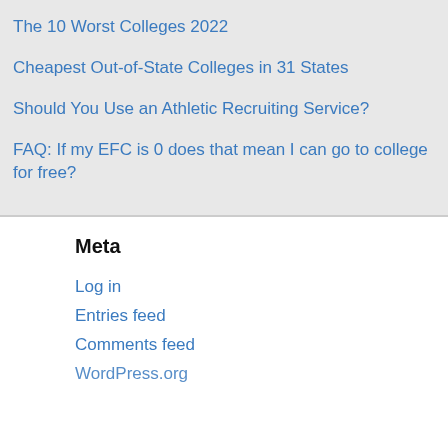The 10 Worst Colleges 2022
Cheapest Out-of-State Colleges in 31 States
Should You Use an Athletic Recruiting Service?
FAQ: If my EFC is 0 does that mean I can go to college for free?
Meta
Log in
Entries feed
Comments feed
WordPress.org